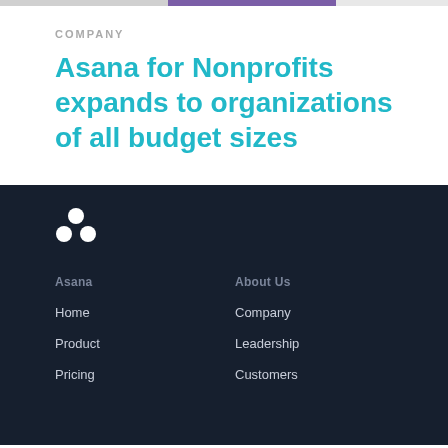COMPANY
Asana for Nonprofits expands to organizations of all budget sizes
[Figure (logo): Asana logo three circles — two on bottom, one on top centered, white on dark navy background]
Asana | About Us | Home | Company | Product | Leadership | Pricing | Customers